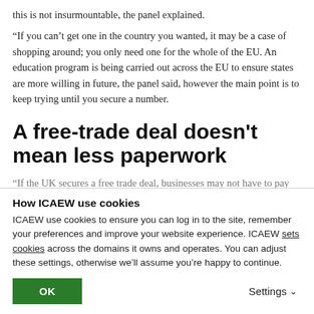this is not insurmountable, the panel explained.
“If you can’t get one in the country you wanted, it may be a case of shopping around; you only need one for the whole of the EU. An education program is being carried out across the EU to ensure states are more willing in future, the panel said, however the main point is to keep trying until you secure a number.
A free-trade deal doesn't mean less paperwork
“If the UK secures a free trade deal, businesses may not have to pay for some declarations, but there are still a lot of implications that will come…
How ICAEW use cookies
ICAEW use cookies to ensure you can log in to the site, remember your preferences and improve your website experience. ICAEW sets cookies across the domains it owns and operates. You can adjust these settings, otherwise we’ll assume you’re happy to continue.